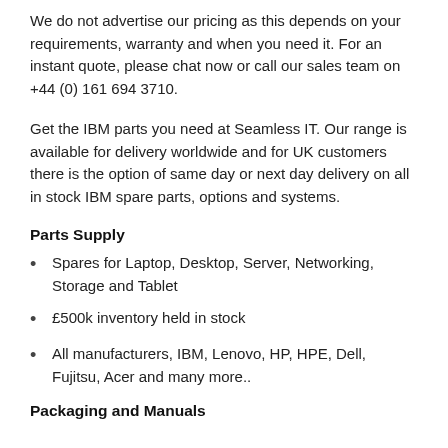We do not advertise our pricing as this depends on your requirements, warranty and when you need it. For an instant quote, please chat now or call our sales team on +44 (0) 161 694 3710.
Get the IBM parts you need at Seamless IT. Our range is available for delivery worldwide and for UK customers there is the option of same day or next day delivery on all in stock IBM spare parts, options and systems.
Parts Supply
Spares for Laptop, Desktop, Server, Networking, Storage and Tablet
£500k inventory held in stock
All manufacturers, IBM, Lenovo, HP, HPE, Dell, Fujitsu, Acer and many more..
Packaging and Manuals